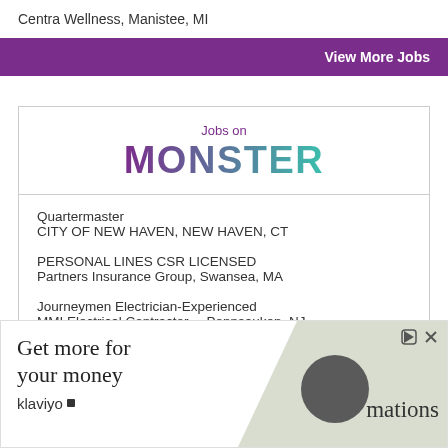Centra Wellness, Manistee, MI
View More Jobs
[Figure (logo): Jobs on Monster logo with purple 'Jobs on' text and large stylized MONSTER in purple-to-teal gradient]
Quartermaster
CITY OF NEW HAVEN, NEW HAVEN, CT
PERSONAL LINES CSR LICENSED
Partners Insurance Group, Swansea, MA
Journeymen Electrician-Experienced
MMI Electrical Contractor..., Pennsauken, NJ
[Figure (infographic): Klaviyo advertisement banner: 'Get more for your money' with klaviyo logo on left, diagonal gray/beige shape with dark circle and 'mations' text on right, with small play/close icons top-right]